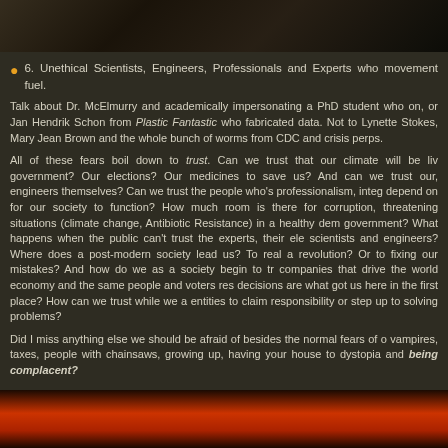[Figure (photo): Top portion of a dark photo showing people, partially cropped]
6. Unethical Scientists, Engineers, Professionals and Experts who movement fuel.
Talk about Dr. McElmurry and academically impersonating a PhD student who on, or Jan Hendrik Schon from Plastic Fantastic who fabricated data. Not to Lynette Stokes, Mary Jean Brown and the whole bunch of worms from CDC and crisis perps.
All of these fears boil down to trust. Can we trust that our climate will be livable? Our government? Our elections? Our medicines to save us? And can we trust our scientists and engineers themselves? Can we trust the people who's professionalism, integrity and ethics we depend on for our society to function? How much room is there for corruption, negligence in existentially threatening situations (climate change, Antibiotic Resistance) in a healthy democracy with a corrupt government? What happens when the public can't trust the experts, their elected officials or even scientists and engineers? Where does a post-modern society lead us? To real accountability and revolution? Or to fixing our mistakes? And how do we as a society begin to trust the same companies that drive the world economy and the same people and voters responsible whose decisions are what got us here in the first place? How can we trust while we allow anonymous entities to claim responsibility or step up to solving problems?
Did I miss anything else we should be afraid of besides the normal fears of dying, vampires, taxes, people with chainsaws, growing up, having your house to dystopia and being complacent?
[Figure (photo): Bottom portion showing dark silhouettes against a red/orange background]